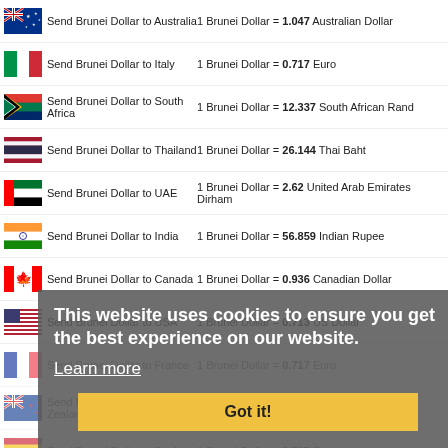Send Brunei Dollar to Australia  1 Brunei Dollar = 1.047 Australian Dollar
Send Brunei Dollar to Italy  1 Brunei Dollar = 0.717 Euro
Send Brunei Dollar to South Africa  1 Brunei Dollar = 12.337 South African Rand
Send Brunei Dollar to Thailand  1 Brunei Dollar = 26.144 Thai Baht
Send Brunei Dollar to UAE  1 Brunei Dollar = 2.62 United Arab Emirates Dirham
Send Brunei Dollar to India  1 Brunei Dollar = 56.859 Indian Rupee
Send Brunei Dollar to Canada  1 Brunei Dollar = 0.936 Canadian Dollar
Send Brunei Dollar to USA  1 Brunei Dollar = 0.713 US Dollar
Send Brunei Dollar to France  1 Brunei Dollar = 0.717 Euro
Send Brunei Dollar to New Zealand  1 Brunei Dollar = 1.167 New Zealand Dollar
Send Brunei Dollar to Spain  1 Brunei Dollar = 0.717 Euro
Send Brunei Dollar to Turkey  1 Brunei Dollar = 12.981 Turkish Lira
Send Brunei Dollar to Germany  1 Brunei Dollar = 0.717 Euro
EUROPE
This website uses cookies to ensure you get the best experience on our website. Learn more
Got it!